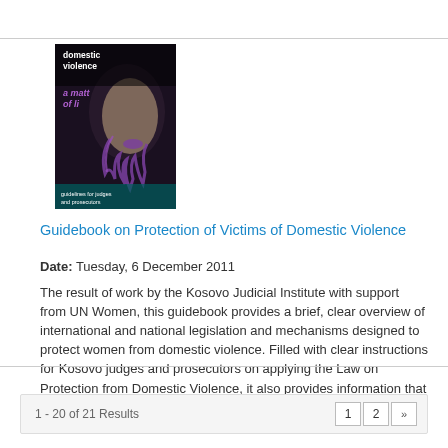[Figure (illustration): Book cover for 'Guidebook on Protection of Victims of Domestic Violence' showing a woman's face with dark/purple tones and text 'domestic violence a matter of life']
Guidebook on Protection of Victims of Domestic Violence
Date: Tuesday, 6 December 2011
The result of work by the Kosovo Judicial Institute with support from UN Women, this guidebook provides a brief, clear overview of international and national legislation and mechanisms designed to protect women from domestic violence. Filled with clear instructions for Kosovo judges and prosecutors on applying the Law on Protection from Domestic Violence, it also provides information that the police, NGOs and victims of violence will find useful, including steps a victim of violence can take.
1 - 20 of 21 Results